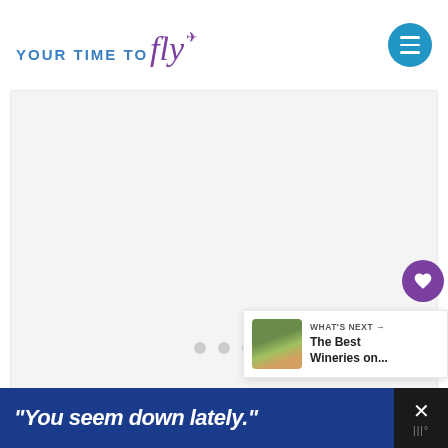[Figure (logo): YOUR TIME TO fly logo with airplane icon. Text 'YOUR TIME TO' in blue uppercase letters, 'fly' in purple italic script with a small airplane/arrow icon.]
[Figure (other): Blue circular hamburger/menu button with three white horizontal lines.]
[Figure (other): Large white/light gray image placeholder area with three gray loading dots at the bottom center.]
[Figure (other): Purple circular heart/favorite button on the right side.]
[Figure (other): White circular share button with share icon on the right side.]
[Figure (other): What's Next panel showing a thumbnail of a vineyard/winery with text 'WHAT'S NEXT →' and 'The Best Wineries on...']
[Figure (other): Advertisement banner with dark blue background showing text: '"You seem down lately."' in white italic bold font, with an X close button on the right.]